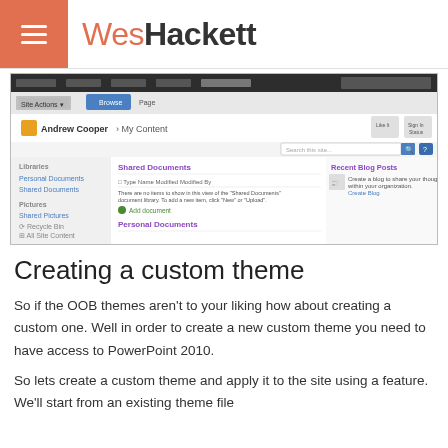WesHackett
[Figure (screenshot): SharePoint 'Andrew Cooper > My Content' page showing Shared Documents and Personal Documents libraries with navigation sidebar and Recent Blog Posts panel.]
Creating a custom theme
So if the OOB themes aren't to your liking how about creating a custom one. Well in order to create a new custom theme you need to have access to PowerPoint 2010.
So lets create a custom theme and apply it to the site using a feature. We'll start from an existing theme file